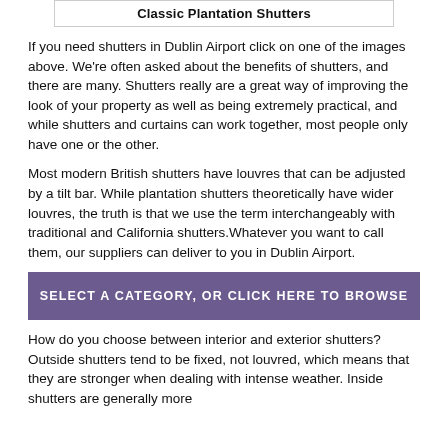| Classic Plantation Shutters |
If you need shutters in Dublin Airport click on one of the images above. We're often asked about the benefits of shutters, and there are many. Shutters really are a great way of improving the look of your property as well as being extremely practical, and while shutters and curtains can work together, most people only have one or the other.
Most modern British shutters have louvres that can be adjusted by a tilt bar. While plantation shutters theoretically have wider louvres, the truth is that we use the term interchangeably with traditional and California shutters.Whatever you want to call them, our suppliers can deliver to you in Dublin Airport.
SELECT A CATEGORY, OR CLICK HERE TO BROWSE
How do you choose between interior and exterior shutters? Outside shutters tend to be fixed, not louvred, which means that they are stronger when dealing with intense weather. Inside shutters are generally more